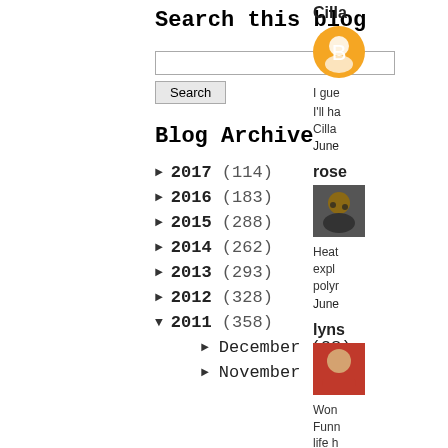Search this blog
Search [input box] Search [button]
Blog Archive
► 2017 (114)
► 2016 (183)
► 2015 (288)
► 2014 (262)
► 2013 (293)
► 2012 (328)
▼ 2011 (358)
► December (28)
► November (25)
Cilla
I gue
I'll ha Cilla
June
rose
[Figure (photo): Profile photo of a person with dark hair]
Heat expl polyr
June
lyns
[Figure (photo): Profile photo of a woman in red top]
Won Funn life h eatin of a